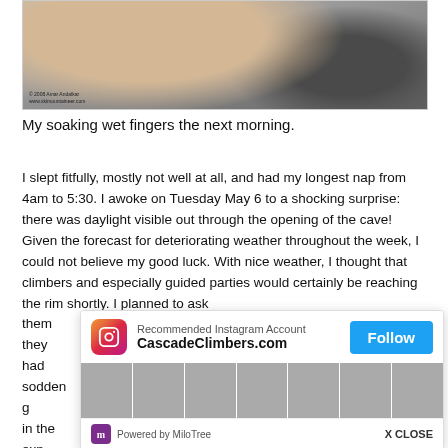[Figure (photo): Close-up photo of soaking wet fingers held up, with blurry snowy/cloudy background. A gloved hand visible in background. Copyright watermark: © 2008 Amar Andalkar, www.skimountaineer.com]
My soaking wet fingers the next morning.
I slept fitfully, mostly not well at all, and had my longest nap from 4am to 5:30. I awoke on Tuesday May 6 to a shocking surprise: there was daylight visible out through the opening of the cave! Given the forecast for deteriorating weather throughout the week, I could not believe my good luck. With nice weather, I thought that climbers and especially guided parties would certainly be reaching the rim shortly. I planned to ask them for food and for assistance in descending in whatever route they had [taken]. sodden g[ear]... in the exp[edition]...
[Figure (screenshot): Instagram popup overlay: Recommended Instagram Account CascadeClimbers.com with Follow button (blue), grid of climbing/mountain photos, powered by MiloTree footer with X CLOSE button.]